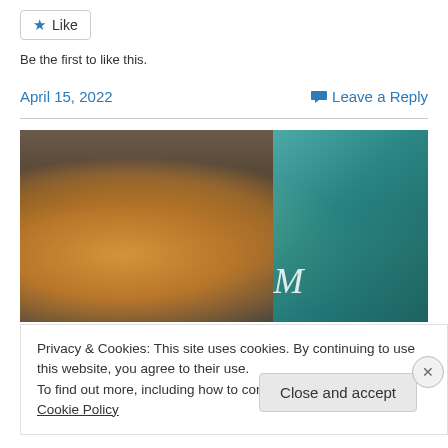★ Like
Be the first to like this.
April 15, 2022
💬 Leave a Reply
[Figure (photo): Photograph showing a person wearing an ornate golden/beaded headpiece with jewels, with a blurred teal/turquoise background and a partial white cursive script overlay.]
Privacy & Cookies: This site uses cookies. By continuing to use this website, you agree to their use.
To find out more, including how to control cookies, see here: Cookie Policy
Close and accept